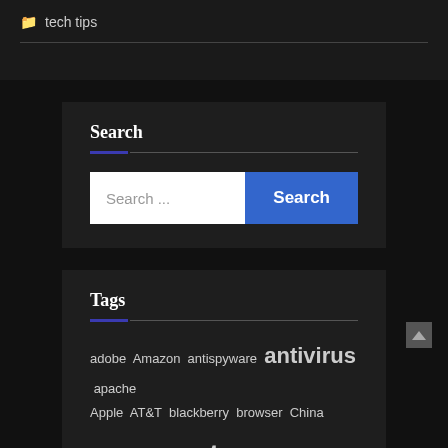tech tips
Search
Search ...
Tags
adobe Amazon antispyware antivirus apache Apple AT&T blackberry browser China computer data breach Dell dilbert dobe email encryption facebook